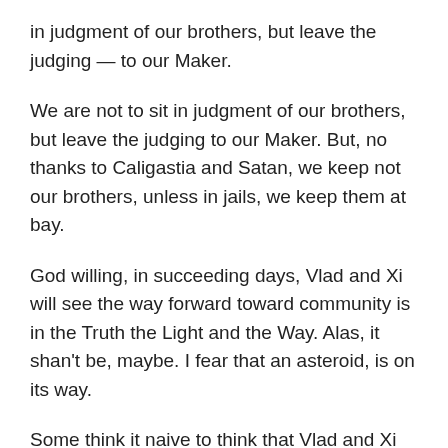in judgment of our brothers, but leave the judging — to our Maker.
We are not to sit in judgment of our brothers, but leave the judging to our Maker. But, no thanks to Caligastia and Satan, we keep not our brothers, unless in jails, we keep them at bay.
God willing, in succeeding days, Vlad and Xi will see the way forward toward community is in the Truth the Light and the Way. Alas, it shan't be, maybe. I fear that an asteroid, is on its way.
Some think it naive to think that Vlad and Xi will see the way forward toward community is in the Truth the Light and the Way. Alas, it shan't be, maybe. An asteroid,